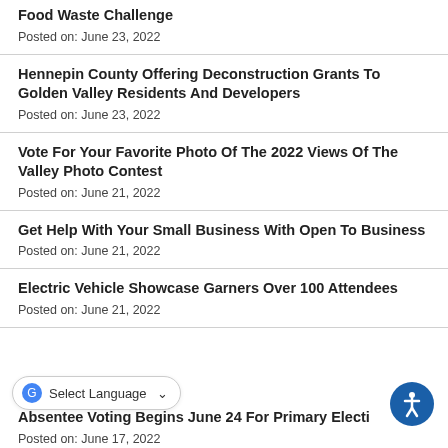Food Waste Challenge
Posted on: June 23, 2022
Hennepin County Offering Deconstruction Grants To Golden Valley Residents And Developers
Posted on: June 23, 2022
Vote For Your Favorite Photo Of The 2022 Views Of The Valley Photo Contest
Posted on: June 21, 2022
Get Help With Your Small Business With Open To Business
Posted on: June 21, 2022
Electric Vehicle Showcase Garners Over 100 Attendees
Posted on: June 21, 2022
Absentee Voting Begins June 24 For Primary Electi…
Posted on: June 17, 2022